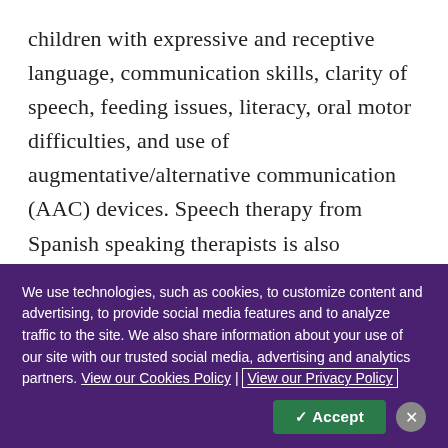children with expressive and receptive language, communication skills, clarity of speech, feeding issues, literacy, oral motor difficulties, and use of augmentative/alternative communication (AAC) devices. Speech therapy from Spanish speaking therapists is also available. Our speech-language pathologists involve caregivers in therapy and provide them with the skills to build on their
We use technologies, such as cookies, to customize content and advertising, to provide social media features and to analyze traffic to the site. We also share information about your use of our site with our trusted social media, advertising and analytics partners. View our Cookies Policy | View our Privacy Policy